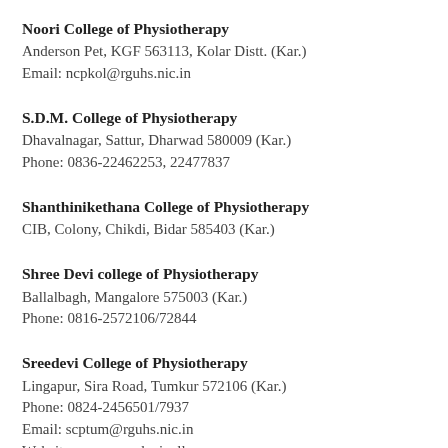Noori College of Physiotherapy
Anderson Pet, KGF 563113, Kolar Distt. (Kar.)
Email: ncpkol@rguhs.nic.in
S.D.M. College of Physiotherapy
Dhavalnagar, Sattur, Dharwad 580009 (Kar.)
Phone: 0836-22462253, 22477837
Shanthinikethana College of Physiotherapy
CIB, Colony, Chikdi, Bidar 585403 (Kar.)
Shree Devi college of Physiotherapy
Ballalbagh, Mangalore 575003 (Kar.)
Phone: 0816-2572106/72844
Sreedevi College of Physiotherapy
Lingapur, Sira Road, Tumkur 572106 (Kar.)
Phone: 0824-2456501/7937
Email: scptum@rguhs.nic.in
Website: www.sreedevicollege.com
Sri B.M. Patil Medical College